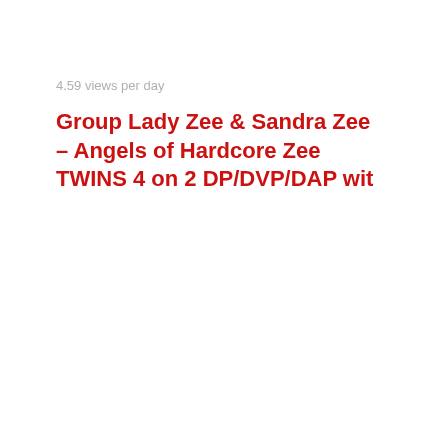4.59 views per day
Group Lady Zee & Sandra Zee – Angels of Hardcore Zee TWINS 4 on 2 DP/DVP/DAP wit